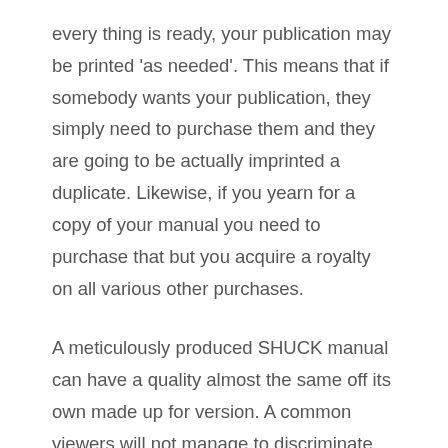every thing is ready, your publication may be printed 'as needed'. This means that if somebody wants your publication, they simply need to purchase them and they are going to be actually imprinted a duplicate. Likewise, if you yearn for a copy of your manual you need to purchase that but you acquire a royalty on all various other purchases.
A meticulously produced SHUCK manual can have a quality almost the same off its own made up for version. A common viewers will not manage to discriminate as well as understand whether guide that they read was created by offset procedure or VESSEL technology. Regardless, there are still publishers and writers who do not take advantage of the advantages from HUSK and remain to get the printing process they know with. This possibly due to the fact that along with SHUCK the promotion of your manual landeds on the writer's shoulder as compared to traditional printing technique. The book has to be highly marketed because book stores will hardly stock them and even provide